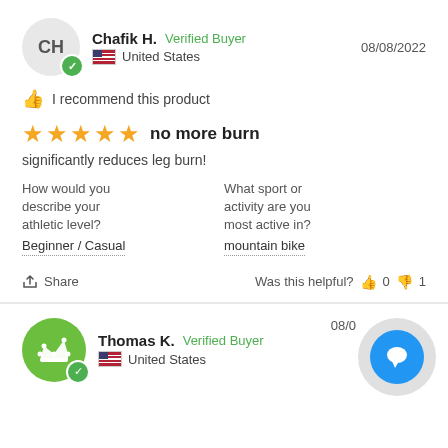Chafik H. | Verified Buyer | 08/08/2022 | United States
👍 I recommend this product
★★★★★ no more burn
significantly reduces leg burn!
How would you describe your athletic level? Beginner / Casual
What sport or activity are you most active in? mountain bike
Share | Was this helpful? 👍 0 👎 1
Thomas K. | Verified Buyer | 08/0... | United States